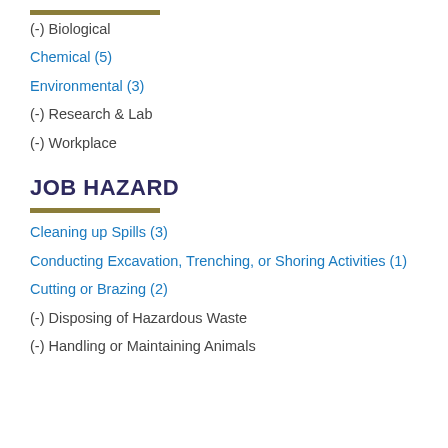(-) Biological
Chemical (5)
Environmental (3)
(-) Research & Lab
(-) Workplace
JOB HAZARD
Cleaning up Spills (3)
Conducting Excavation, Trenching, or Shoring Activities (1)
Cutting or Brazing (2)
(-) Disposing of Hazardous Waste
(-) Handling or Maintaining Animals